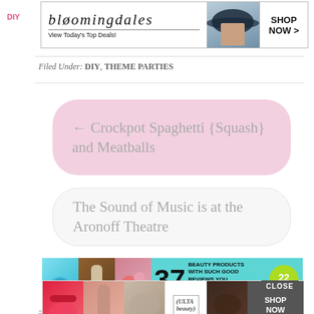[Figure (other): Bloomingdale's banner advertisement: logo, 'View Today's Top Deals!', woman in hat image, SHOP NOW button. DIY tag in pink on left.]
Filed Under: DIY, THEME PARTIES
← Crockpot Spaghetti {Squash} and Meatballs
The Sound of Music is at the Aronoff Theatre
[Figure (other): Banner ad: 37 Beauty Products With Such Good Reviews You Might Want To Try Them Yourself — 22 Words. Teal background with product photos.]
« Crockpot Spaghetti {Squash} and Mo…
[Figure (other): Ulta Beauty advertisement with makeup/beauty photos, CLOSE button, SHOP NOW button.]